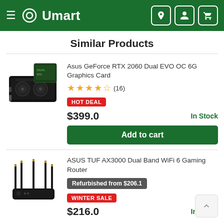Umart
Similar Products
Asus GeForce RTX 2060 Dual EVO OC 6G Graphics Card
★★★★✩ (16)
HOT DEAL
$399.0
In Stock
Add to cart
ASUS TUF AX3000 Dual Band WiFi 6 Gaming Router
Refurbished from $206.1
WINTER SALE
$216.0
In Stock